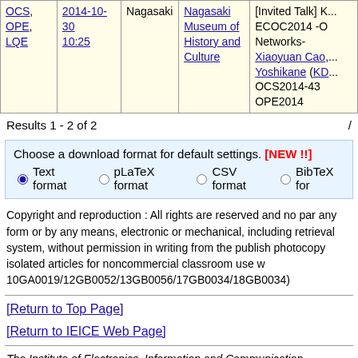|  | Date/Time | Location | Venue | Title/Authors |
| --- | --- | --- | --- | --- |
| OCS, OPE, LQE | 2014-10-30 10:25 | Nagasaki | Nagasaki Museum of History and Culture | [Invited Talk] K... ECOC2014 -O Networks- Xiaoyuan Cao,... Yoshikane (KD... OCS2014-43 OPE2014... |
Results 1 - 2 of 2 /
Choose a download format for default settings. [NEW !!] Text format pLaTeX format CSV format BibTeX for
Copyright and reproduction : All rights are reserved and no par any form or by any means, electronic or mechanical, including retrieval system, without permission in writing from the publish photocopy isolated articles for noncommercial classroom use w 10GA0019/12GB0052/13GB0056/17GB0034/18GB0034)
[Return to Top Page]
[Return to IEICE Web Page]
The Institute of Electronics, Information and Communication Engineers (IEICE), Japan